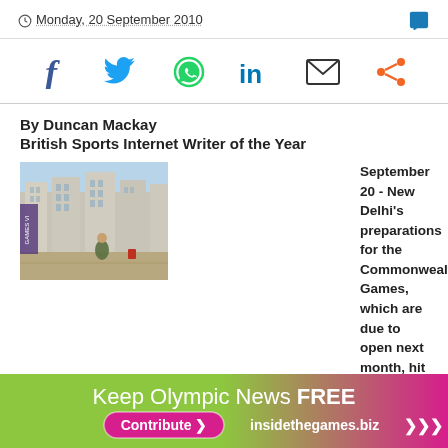Monday, 20 September 2010
[Figure (infographic): Social sharing icons: Facebook, Twitter, WhatsApp, LinkedIn, Email, Share]
By Duncan Mackay
British Sports Internet Writer of the Year
[Figure (photo): Photo of New Delhi Athletes Village construction area with buildings in background]
September 20 - New Delhi's preparations for the Commonwealth Games, which are due to open next month, hit new problems tonight when the Government were warned that the success of the event was being threatened by the poor quality of the Athletes Village.
Mike Fennell, the President of the Commonwealth Games
[Figure (infographic): Advertisement banner: Keep Olympic News FREE - Contribute > insidethegames.biz >>>]